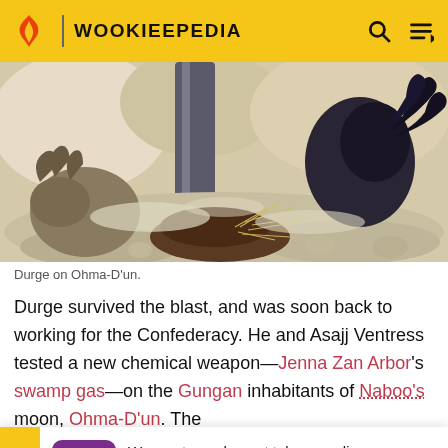WOOKIEEPEDIA
[Figure (illustration): Comic book art showing Durge on Ohma-D'un — tentacled alien figures emerging from a swampy surface with beams of light and dark armored claws.]
Durge on Ohma-D'un.
Durge survived the blast, and was soon back to working for the Confederacy. He and Asajj Ventress tested a new chemical weapon—Jenna Zan Arbor's swamp gas—on the Gungan inhabitants of Naboo's moon, Ohma-D'un. The toxin... nst Gunga... gas. Upon... ns
We want your honest take on online discussions
SURVEY: ONLINE FORUMS